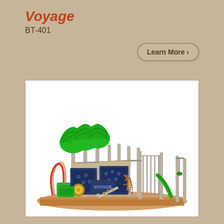Voyage
BT-401
Learn More ›
[Figure (photo): Playground equipment set called Voyage BT-401, featuring multiple green tree-shaped canopy towers with grey metal poles, dark blue climbing panels, slides, climbing frames, and various play components on a wood chip surface.]